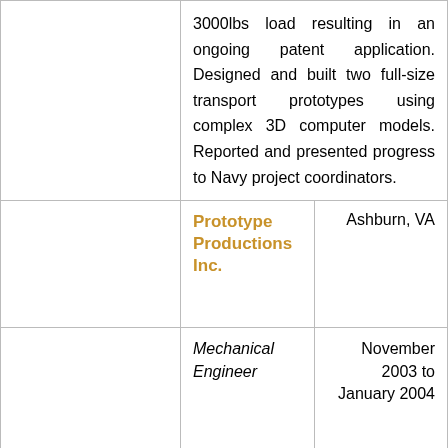|  | 3000lbs load resulting in an ongoing patent application. Designed and built two full-size transport prototypes using complex 3D computer models. Reported and presented progress to Navy project coordinators. |  |
|  | Prototype Productions Inc. | Ashburn, VA |
|  | Mechanical Engineer | November 2003 to January 2004 |
|  | Consulted with a medical device company to develop a haptic simulator used to train doctors |  |